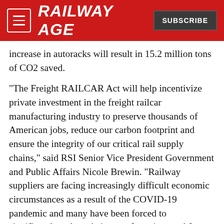RAILWAY AGE
increase in autoracks will result in 15.2 million tons of CO2 saved.
“The Freight RAILCAR Act will help incentivize private investment in the freight railcar manufacturing industry to preserve thousands of American jobs, reduce our carbon footprint and ensure the integrity of our critical rail supply chains,” said RSI Senior Vice President Government and Public Affairs Nicole Brewin. “Railway suppliers are facing increasingly difficult economic circumstances as a result of the COVID-19 pandemic and many have been forced to significantly reduce their manufacturing workforces. We thank representatives Schneider, LaHood, Lininski, Crawford, Blumenauer, and